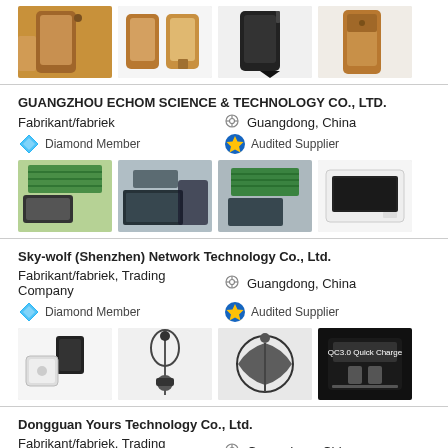[Figure (photo): Four product images of leather phone cases shown at the top of the page]
GUANGZHOU ECHOM SCIENCE & TECHNOLOGY CO., LTD.
Fabrikant/fabriek
Guangdong, China
Diamond Member
Audited Supplier
[Figure (photo): Four product images showing solar panels and portable power stations]
Sky-wolf (Shenzhen) Network Technology Co., Ltd.
Fabrikant/fabriek, Trading Company
Guangdong, China
Diamond Member
Audited Supplier
[Figure (photo): Four product images showing chargers, phone mounts, cables, and QC charger]
Dongguan Yours Technology Co., Ltd.
Fabrikant/fabriek, Trading Company
Guangdong, China